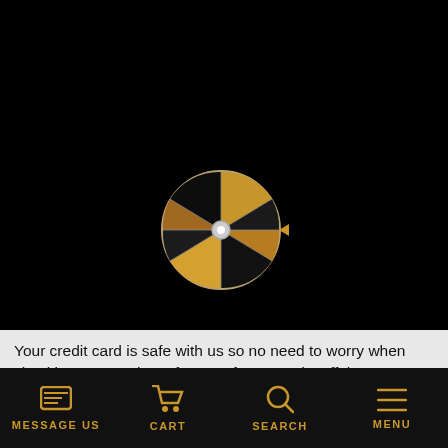[Figure (illustration): Black background with a small spinning prize wheel (fortune wheel) in gold/black/tan colors centered in the upper portion of the screen. A small pointer/arrow is attached to the right side of the wheel.]
Your credit card is safe with us so no need to worry when checking out. We have fancy software and stuff that encrypts your data to make sure nothing bad happens with it. We also have a 60-day
MESSAGE US   CART   SEARCH   MENU